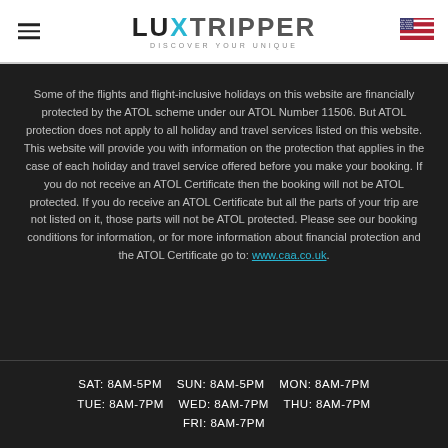LUXTRIPPER — DISCOVER YOUR UNIQUE
Some of the flights and flight-inclusive holidays on this website are financially protected by the ATOL scheme under our ATOL Number 11506. But ATOL protection does not apply to all holiday and travel services listed on this website. This website will provide you with information on the protection that applies in the case of each holiday and travel service offered before you make your booking. If you do not receive an ATOL Certificate then the booking will not be ATOL protected. If you do receive an ATOL Certificate but all the parts of your trip are not listed on it, those parts will not be ATOL protected. Please see our booking conditions for information, or for more information about financial protection and the ATOL Certificate go to: www.caa.co.uk.
SAT: 8AM-5PM   SUN: 8AM-5PM   MON: 8AM-7PM
TUE: 8AM-7PM   WED: 8AM-7PM   THU: 8AM-7PM
FRI: 8AM-7PM